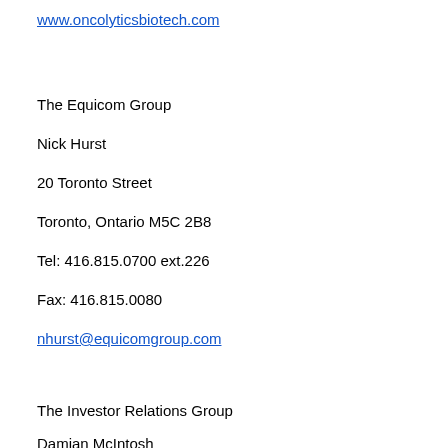www.oncolyticsbiotech.com
The Equicom Group
Nick Hurst
20 Toronto Street
Toronto, Ontario M5C 2B8
Tel: 416.815.0700 ext.226
Fax: 416.815.0080
nhurst@equicomgroup.com
The Investor Relations Group
Damian McIntosh